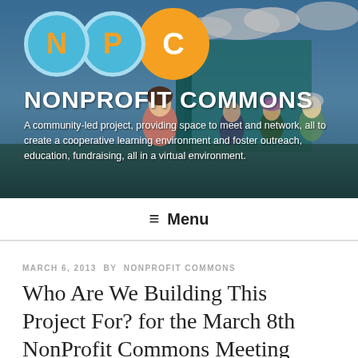[Figure (screenshot): Nonprofit Commons website header banner showing NPC logo circles (N, P, C) in blue and orange, with 3D avatar characters in the background against a blue sky and teal building]
NONPROFIT COMMONS
A community-led project, providing space to meet and network, all to create a cooperative learning environment and foster outreach, education, fundraising, all in a virtual environment.
≡ Menu
MARCH 6, 2013 BY NONPROFIT COMMONS
Who Are We Building This Project For? for the March 8th NonProfit Commons Meeting